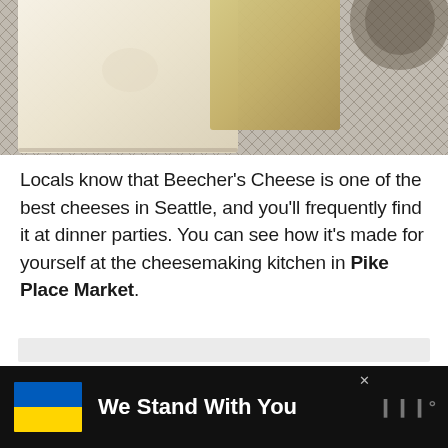[Figure (photo): Photograph of blocks of cheese (Beecher's Cheese) resting on a woven net/mesh background. One large pale cream-colored block in the foreground, a second amber-colored block behind it.]
Locals know that Beecher's Cheese is one of the best cheeses in Seattle, and you'll frequently find it at dinner parties. You can see how it's made for yourself at the cheesemaking kitchen in Pike Place Market.
[Figure (infographic): Advertisement banner with dark background. Shows Ukraine flag colors (blue and yellow), bold white text 'We Stand With You', close button (x), and a logo icon on the right.]